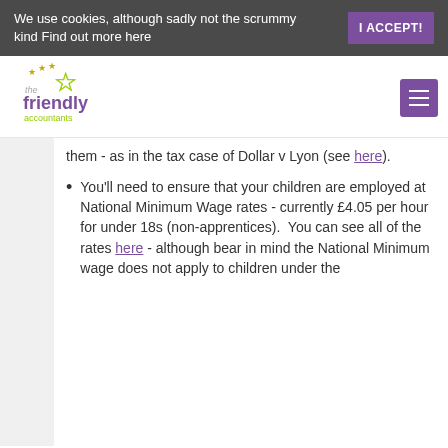We use cookies, although sadly not the scrummy kind Find out more here | I ACCEPT!
[Figure (logo): The Friendly Accountants logo with stars and purple/green text]
them - as in the tax case of Dollar v Lyon (see here).
You'll need to ensure that your children are employed at National Minimum Wage rates - currently £4.05 per hour for under 18s (non-apprentices). You can see all of the rates here - although bear in mind the National Minimum wage does not apply to children under the